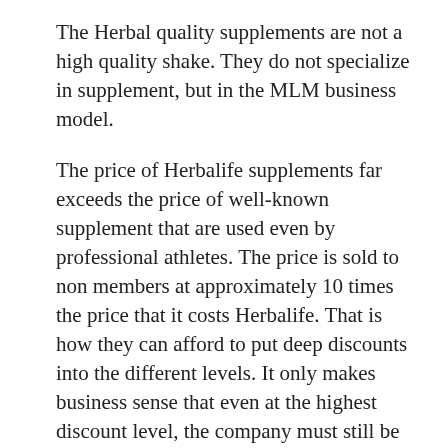The Herbal quality supplements are not a high quality shake. They do not specialize in supplement, but in the MLM business model.
The price of Herbalife supplements far exceeds the price of well-known supplement that are used even by professional athletes. The price is sold to non members at approximately 10 times the price that it costs Herbalife. That is how they can afford to put deep discounts into the different levels. It only makes business sense that even at the highest discount level, the company must still be able to make a profit.
For example, take the Herbalife Protein shake, vs Optimum Nutrition Gold Standard Whey Protein (one of the highest rated and popular protein